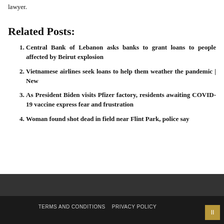lawyer.
Related Posts:
Central Bank of Lebanon asks banks to grant loans to people affected by Beirut explosion
Vietnamese airlines seek loans to help them weather the pandemic | New
As President Biden visits Pfizer factory, residents awaiting COVID-19 vaccine express fear and frustration
Woman found shot dead in field near Flint Park, police say
TERMS AND CONDITIONS   PRIVACY POLICY